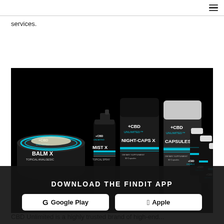☰
services.
[Figure (photo): CBD Unlimited product lineup on black background including BALM X topical analgesic, MIST X topical spray, NIGHT-CAPS X dietary supplement capsules, CAPSULES X dietary supplement, and DROPS X supplement liquid drops in multiple bottles.]
CBD Unlimited is a highly trusted brand of high-end...
DOWNLOAD THE FINDIT APP
G Google Play
🍎 Apple